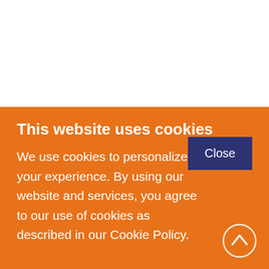n an
offers
XE
ne
s or
e
This website uses cookies
We use cookies to personalize your experience. By using our website and services, you agree to our use of cookies as described in our Cookie Policy.
Close